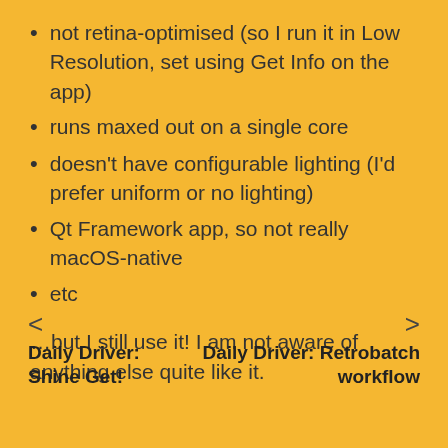not retina-optimised (so I run it in Low Resolution, set using Get Info on the app)
runs maxed out on a single core
doesn't have configurable lighting (I'd prefer uniform or no lighting)
Qt Framework app, so not really macOS-native
etc
…but I still use it! I am not aware of anything else quite like it.
< Daily Driver: Shine Get!
> Daily Driver: Retrobatch workflow